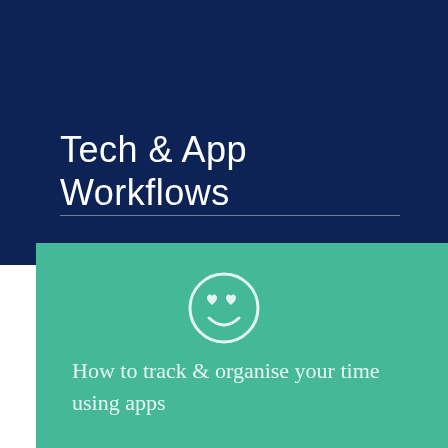Tech & App Workflows
[Figure (illustration): Smiley face emoji icon with heart eyes, white outline style on teal background]
How to track & organise your time using apps